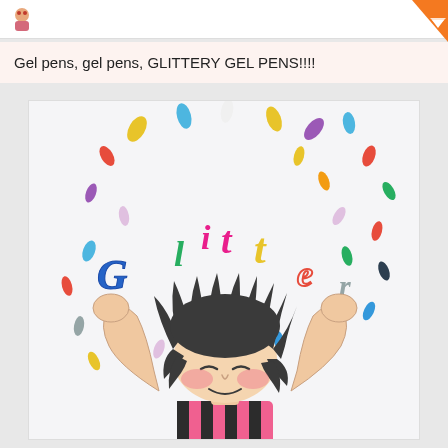Gel pens, gel pens, GLITTERY GEL PENS!!!!
[Figure (illustration): Hand-drawn illustration of a cartoon girl with wild dark spiky hair, eyes closed, rosy cheeks, smiling, raising both hands up. Above her head float colorful glittery gel pen marks and the letters G, l, i, t, t, e, r forming the word 'Glitter' in various bright colors (blue, green, pink, yellow, red, gray). Colorful oval confetti shapes scatter around. The girl wears a pink and dark striped top. The drawing is done in pencil with colorful gel pen accents on a white background.]